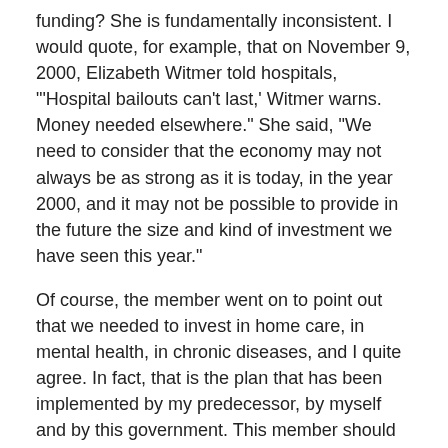funding? She is fundamentally inconsistent. I would quote, for example, that on November 9, 2000, Elizabeth Witmer told hospitals, "'Hospital bailouts can't last,' Witmer warns. Money needed elsewhere." She said, "We need to consider that the economy may not always be as strong as it is today, in the year 2000, and it may not be possible to provide in the future the size and kind of investment we have seen this year."
Of course, the member went on to point out that we needed to invest in home care, in mental health, in chronic diseases, and I quite agree. In fact, that is the plan that has been implemented by my predecessor, by myself and by this government. This member should in fact stand up and correct her record, because she has pointed out fundamentally incorrect and inconsistent information in the question she asked, and the plan that has been presented in fact is working throughoutÃ¢Â
The Speaker (Hon. Steve Peters): Thank you. New